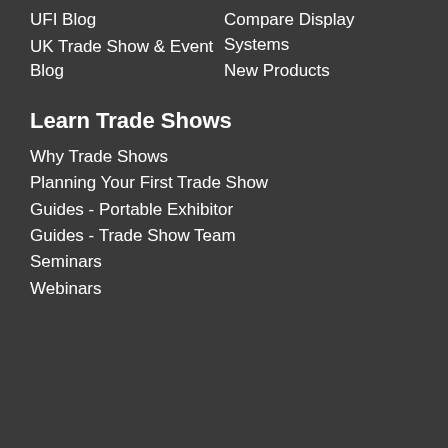UFI Blog
UK Trade Show & Event Blog
Compare Display Systems
New Products
Learn Trade Shows
Why Trade Shows
Planning Your First Trade Show
Guides - Portable Exhibitor
Guides - Trade Show Team
Seminars
Webinars
ACCEPT  We use cookies to personalize our web content and analyze our traffic. We share this information with Skyline dealers who may combine it with information you provided them
[Figure (infographic): Social sharing bar with icons for Twitter, Facebook, Email, WhatsApp, SMS, and More options]